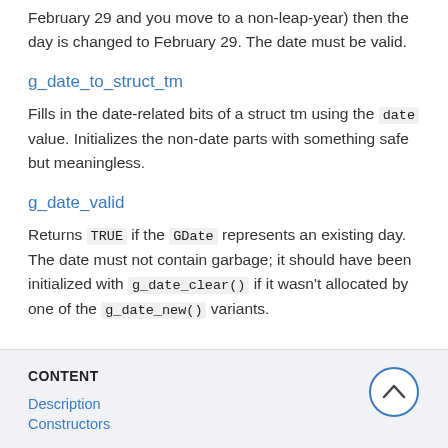February 29 and you move to a non-leap-year) then the day is changed to February 29. The date must be valid.
g_date_to_struct_tm
Fills in the date-related bits of a struct tm using the date value. Initializes the non-date parts with something safe but meaningless.
g_date_valid
Returns TRUE if the GDate represents an existing day. The date must not contain garbage; it should have been initialized with g_date_clear() if it wasn't allocated by one of the g_date_new() variants.
CONTENT
Description
Constructors